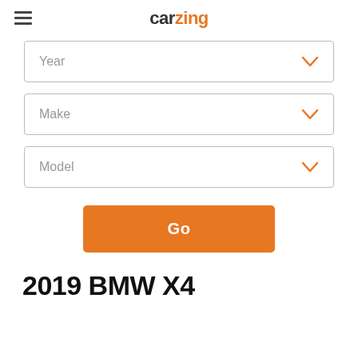carzing
Year
Make
Model
Go
2019 BMW X4